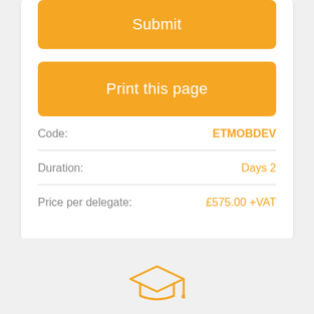Submit
Print this page
Code: ETMOBDEV
Duration: Days 2
Price per delegate: £575.00 +VAT
[Figure (illustration): Graduation cap icon in orange outline style]
Trained over 60000 delegates